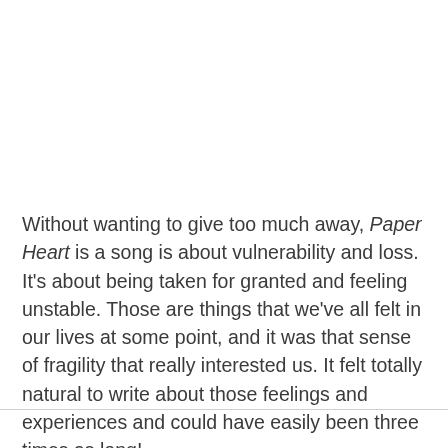Without wanting to give too much away, Paper Heart is a song is about vulnerability and loss. It's about being taken for granted and feeling unstable. Those are things that we've all felt in our lives at some point, and it was that sense of fragility that really interested us. It felt totally natural to write about those feelings and experiences and could have easily been three times as long!